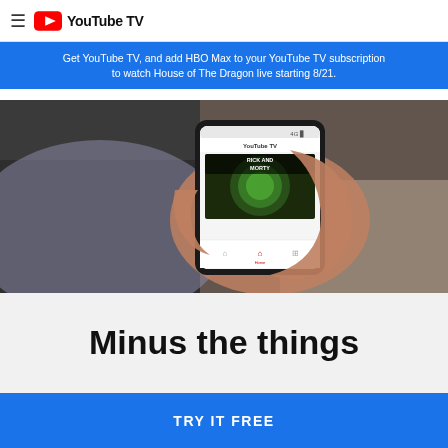YouTube TV
Get YouTube TV, and add HBO Max to your YouTube TV subscription to watch House of The Dragon live starting 8/21.
[Figure (photo): A person holding a smartphone displaying the YouTube TV app with Rick and Morty content visible on screen]
Minus the things
TRY IT FREE